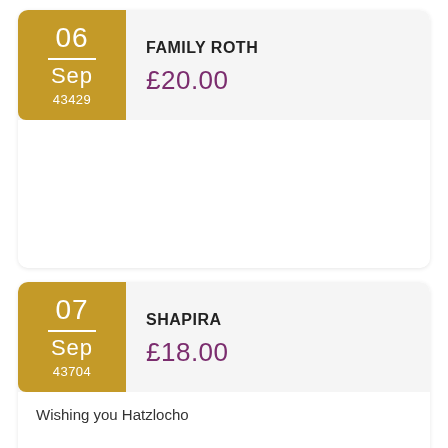06 Sep 43429 | FAMILY ROTH | £20.00
07 Sep 43704 | SHAPIRA | £18.00 | Wishing you Hatzlocho
07 Sep | WEBERMAN